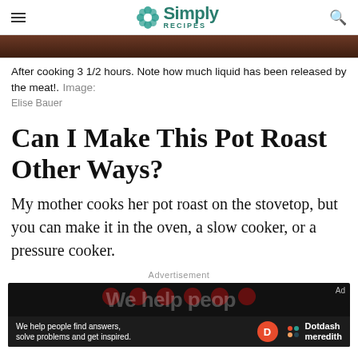Simply Recipes
[Figure (photo): Partial view of pot roast cooking in liquid, showing meat in broth.]
After cooking 3 1/2 hours. Note how much liquid has been released by the meat!. Image: Elise Bauer
Can I Make This Pot Roast Other Ways?
My mother cooks her pot roast on the stovetop, but you can make it in the oven, a slow cooker, or a pressure cooker.
[Figure (screenshot): Dotdash Meredith advertisement banner with text 'We help people find answers, solve problems and get inspired.']